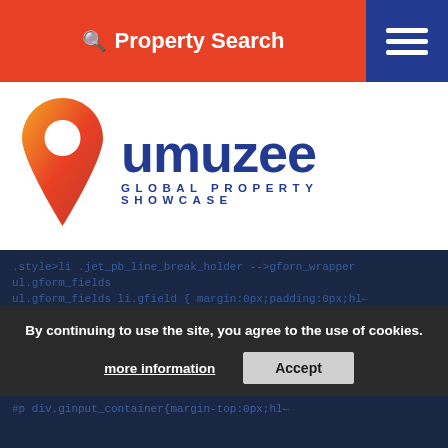Property Search
[Figure (logo): Umuzee Global Property Showcase logo with orange map pin icon and dark blue text]
.style>li .jet_pb_line_break_holder -->gforn_wrapper ul.gform_fields li.gfield { margin:0px;padding:0px;hl- .jet_pu_line_break_holder } → gform_body input, gform_body select{font-size:13px;}.jet_pb_line_break_holder --> .gform_wrapper gform_footer input button, .gforn_wrapper .gform_footer input[type=submit]{width:100%;}←.jet_pb_line_break_holder → body .gform_wrapper ul.gfield_list {m
By continuing to use the site, you agree to the use of cookies.
more information
Accept
#p div.ginput_container{margin-top:0px;hl←